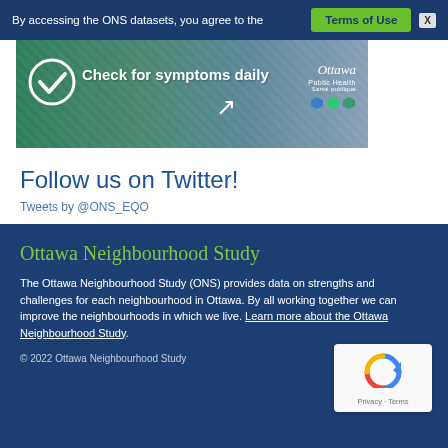By accessing the ONS datasets, you agree to the Terms of Use
[Figure (photo): Ottawa Public Health banner image with checkmark icon and text 'Check for symptoms daily', with Ottawa Public Health logo and hexagon icons]
Follow us on Twitter!
Tweets by @ONS_EQO
Ottawa Neighbourhood Study
The Ottawa Neighbourhood Study (ONS) provides data on strengths and challenges for each neighbourhood in Ottawa. By all working together we can improve the neighbourhoods in which we live. Learn more about the Ottawa Neighbourhood Study.
© 2022 Ottawa Neighbourhood Study